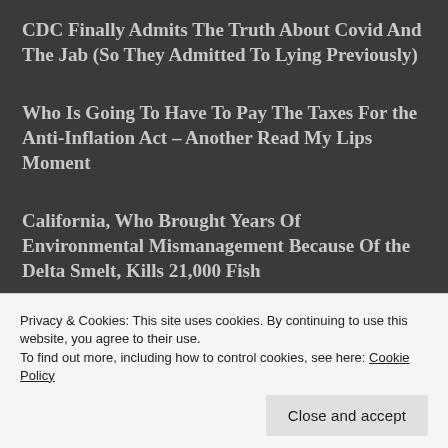CDC Finally Admits The Truth About Covid And The Jab (So They Admitted To Lying Previously)
Who Is Going To Have To Pay The Taxes For the Anti-Inflation Act – Another Read My Lips Moment
California, Who Brought Years Of Environmental Mismanagement Because Of the Delta Smelt, Kills 21,000 Fish
An Actual Sign At a Golf Club In Scotland
Star Trek Humor – Red Shirt Style
Privacy & Cookies: This site uses cookies. By continuing to use this website, you agree to their use. To find out more, including how to control cookies, see here: Cookie Policy
Close and accept